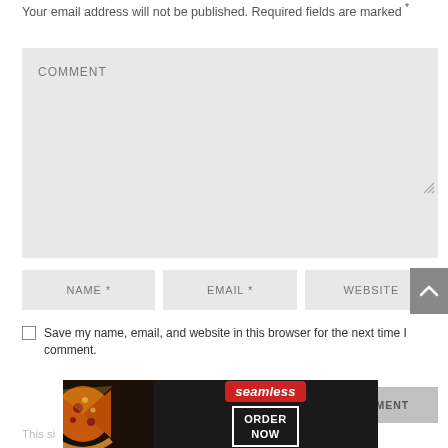Your email address will not be published. Required fields are marked *
[Figure (screenshot): Comment textarea input box with light gray background and label COMMENT]
[Figure (screenshot): Three input fields: NAME *, EMAIL *, WEBSITE in a row with gray backgrounds]
Save my name, email, and website in this browser for the next time I comment.
[Figure (screenshot): POST COMMENT button with gray background]
[Figure (screenshot): Seamless food ordering advertisement banner with pizza image, Seamless logo, and ORDER NOW button]